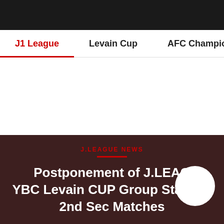J1 League | Levain Cup | AFC Champions L
J.LEAGUE NEWS
Postponement of J.LEAGUE YBC Levain CUP Group Stage 2nd Sec Matches